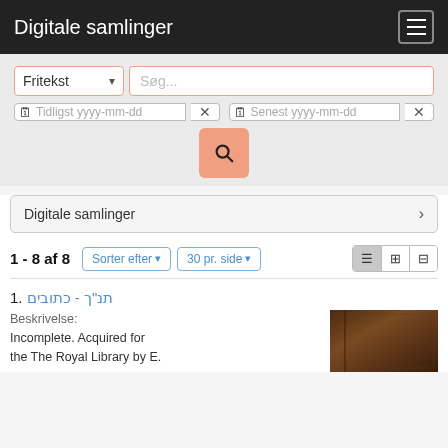Digitale samlinger
[Figure (screenshot): Search interface with Fritekst dropdown and Søg... text input, date range fields (Tidligst yyyy-mm-dd, Senest yyyy-mm-dd), and a salmon-colored search button with magnifying glass icon]
Digitale samlinger >
1 - 8 af 8
Sorter efter ▾   30 pr. side ▾   [list view buttons]
1. תנ"ך - כתובים
Beskrivelse: Incomplete. Acquired for the The Royal Library by E.